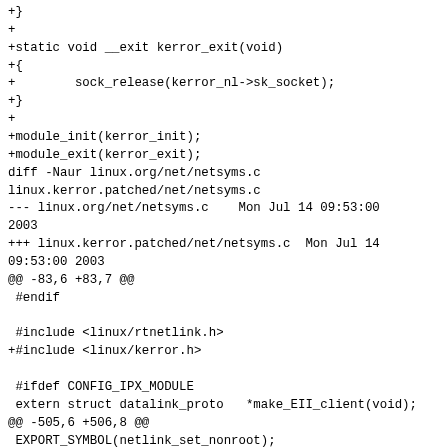+}
+
+static void __exit kerror_exit(void)
+{
+        sock_release(kerror_nl->sk_socket);
+}
+
+module_init(kerror_init);
+module_exit(kerror_exit);
diff -Naur linux.org/net/netsyms.c linux.kerror.patched/net/netsyms.c
--- linux.org/net/netsyms.c    Mon Jul 14 09:53:00 2003
+++ linux.kerror.patched/net/netsyms.c  Mon Jul 14 09:53:00 2003
@@ -83,6 +83,7 @@
 #endif

 #include <linux/rtnetlink.h>
+#include <linux/kerror.h>

 #ifdef CONFIG_IPX_MODULE
 extern struct datalink_proto   *make_EII_client(void);
@@ -505,6 +506,8 @@
 EXPORT_SYMBOL(netlink_set_nonroot);
 EXPORT_SYMBOL(netlink_register_notifier);
 EXPORT_SYMBOL(netlink_unregister_notifier);
+EXPORT_SYMBOL(kernel_error_event);
+EXPORT_SYMBOL(kernel_error_event_iov);
 #if defined(CONFIG_NETLINK_DEV) ||
+#if defined(CONFIG_NETLINK_DEV_MODULE)